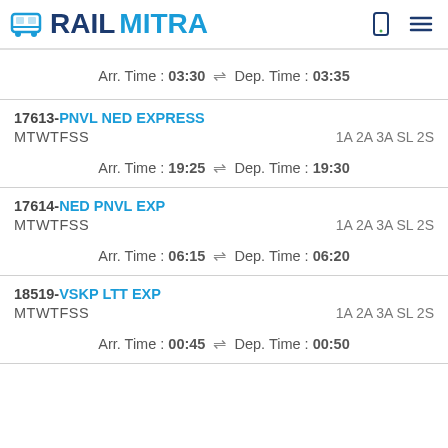RAILMITRA
Arr. Time : 03:30 ⇌ Dep. Time : 03:35
17613-PNVL NED EXPRESS
MTWTFSS	1A 2A 3A SL 2S
Arr. Time : 19:25 ⇌ Dep. Time : 19:30
17614-NED PNVL EXP
MTWTFSS	1A 2A 3A SL 2S
Arr. Time : 06:15 ⇌ Dep. Time : 06:20
18519-VSKP LTT EXP
MTWTFSS	1A 2A 3A SL 2S
Arr. Time : 00:45 ⇌ Dep. Time : 00:50